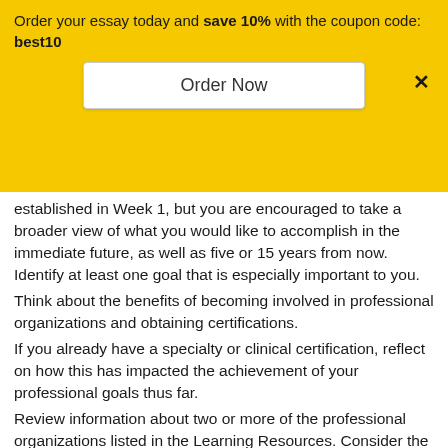Order your essay today and save 10% with the coupon code: best10
Order Now
established in Week 1, but you are encouraged to take a broader view of what you would like to accomplish in the immediate future, as well as five or 15 years from now. Identify at least one goal that is especially important to you.
Think about the benefits of becoming involved in professional organizations and obtaining certifications.
If you already have a specialty or clinical certification, reflect on how this has impacted the achievement of your professional goals thus far.
Review information about two or more of the professional organizations listed in the Learning Resources. Consider the following questions:
As you explore each organization's website, review the mission, vision, and value statements. Also examine the strategic plan, if possible. How do these align with your interests and your professional goals?